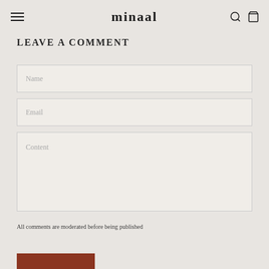minaal
LEAVE A COMMENT
Name
Email
Content
All comments are moderated before being published